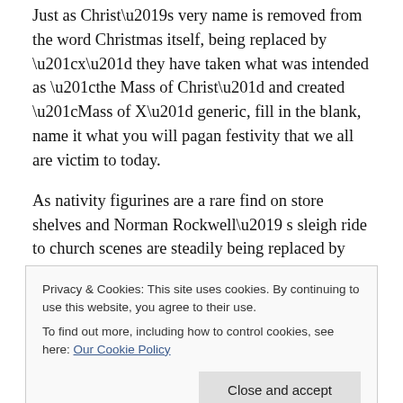Just as Christ’s very name is removed from the word Christmas itself, being replaced by “x” they have taken what was intended as “the Mass of Christ” and created “Mass of X” generic, fill in the blank, name it what you will pagan festivity that we all are victim to today.
As nativity figurines are a rare find on store shelves and Norman Rockwell’ s sleigh ride to church scenes are steadily being replaced by television commercials of “visions of drunken office parties infiltrating our heads”.
“Parson Brown” of the old beloved lyric now being
Privacy & Cookies: This site uses cookies. By continuing to use this website, you agree to their use.
To find out more, including how to control cookies, see here: Our Cookie Policy
HOW is that NOT depressing? And a host of secular